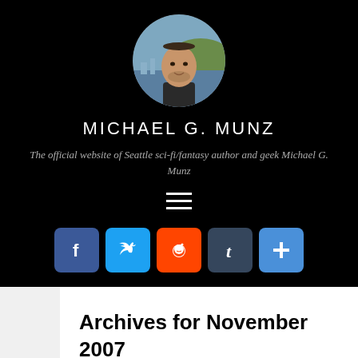[Figure (photo): Circular portrait photo of a man (Michael G. Munz) with a city/water background]
MICHAEL G. MUNZ
The official website of Seattle sci-fi/fantasy author and geek Michael G. Munz
[Figure (infographic): Hamburger menu icon (three horizontal lines)]
[Figure (infographic): Social media share buttons: Facebook, Twitter, Reddit, Tumblr, and a plus/more button]
Archives for November 2007